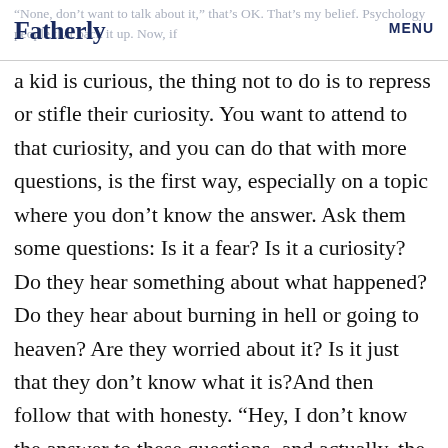Fatherly  MENU
“None, don’t want to talk about it,” that’s OK. That’s my belief. Psychology people that back it up. Now, if a kid is curious, the thing not to do is to repress or stifle their curiosity. You want to attend to that curiosity, and you can do that with more questions, is the first way, especially on a topic where you don’t know the answer. Ask them some questions: Is it a fear? Is it a curiosity? Do they hear something about what happened? Do they hear about burning in hell or going to heaven? Are they worried about it? Is it just that they don’t know what it is?And then follow that with honesty. “Hey, I don’t know the answer to these questions, and actually, the idea of death makes me a bit anxious, too.” That’s a fine thing to say to a kid. We all know that when we hear that